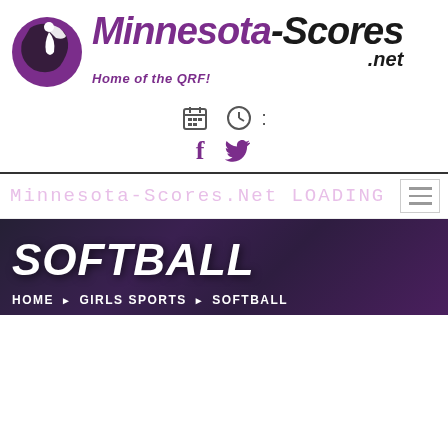[Figure (logo): Minnesota-Scores.net logo with purple softball/sphere icon on left and stylized italic text 'Minnesota-Scores.net' with tagline 'Home of the QRF!']
[Figure (infographic): Calendar icon and clock icon with colon, and Facebook and Twitter social media icons in purple]
Minnesota-Scores.Net LOADING
SOFTBALL
HOME > GIRLS SPORTS > SOFTBALL